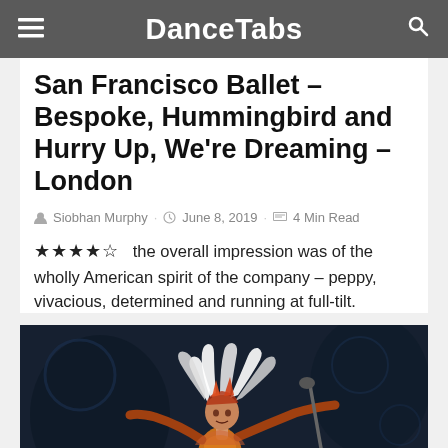DanceTabs
San Francisco Ballet – Bespoke, Hummingbird and Hurry Up, We're Dreaming – London
Siobhan Murphy · June 8, 2019 · 4 Min Read
★★★★☆  the overall impression was of the wholly American spirit of the company – peppy, vivacious, determined and running at full-tilt.
[Figure (photo): Performer in elaborate costume with wild white hair, dramatic costume with feathers and colorful bodysuit, posing dynamically on stage against dark background]